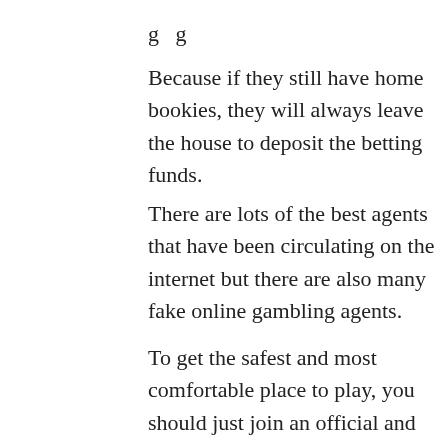Because if they still have home bookies, they will always leave the house to deposit the betting funds.
There are lots of the best agents that have been circulating on the internet but there are also many fake online gambling agents.
To get the safest and most comfortable place to play, you should just join an official and trusted Homebet88 online gambling agent that has legality or an official certificate in it.